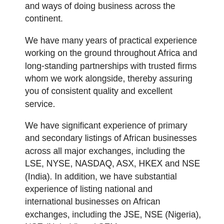and ways of doing business across the continent.
We have many years of practical experience working on the ground throughout Africa and long-standing partnerships with trusted firms whom we work alongside, thereby assuring you of consistent quality and excellent service.
We have significant experience of primary and secondary listings of African businesses across all major exchanges, including the LSE, NYSE, NASDAQ, ASX, HKEX and NSE (India). In addition, we have substantial experience of listing national and international businesses on African exchanges, including the JSE, NSE (Nigeria), NSE (Nairobi) and SEM.
Our Capital Markets team integrates seamlessly with our experts in other areas